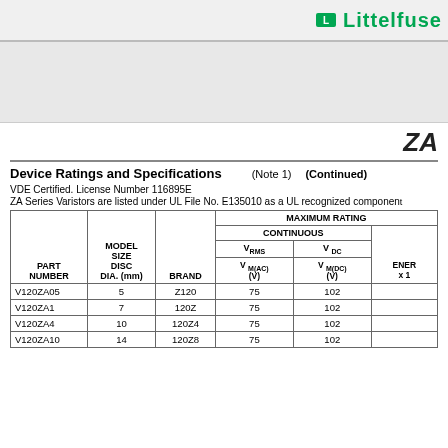Littelfuse
ZA
Device Ratings and Specifications (Note 1) (Continued)
VDE Certified. License Number 116895E
ZA Series Varistors are listed under UL File No. E135010 as a UL recognized component
| PART NUMBER | MODEL SIZE DISC DIA. (mm) | BRAND | V RMS V M(AC) (V) | V DC V M(DC) (V) | ENERGY x10 |
| --- | --- | --- | --- | --- | --- |
| V120ZA05 | 5 | Z120 | 75 | 102 |  |
| V120ZA1 | 7 | 120Z | 75 | 102 |  |
| V120ZA4 | 10 | 120Z4 | 75 | 102 |  |
| V120ZA10 | 14 | 120Z8 | 75 | 102 |  |